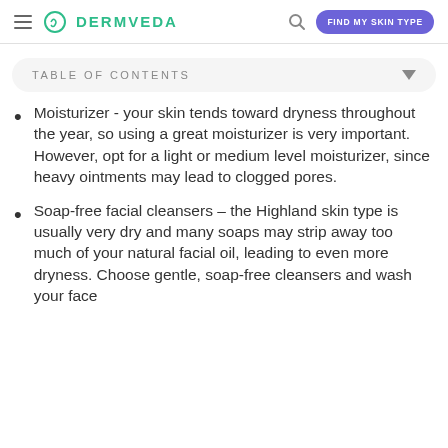DERMVEDA | FIND MY SKIN TYPE
TABLE OF CONTENTS
Moisturizer - your skin tends toward dryness throughout the year, so using a great moisturizer is very important. However, opt for a light or medium level moisturizer, since heavy ointments may lead to clogged pores.
Soap-free facial cleansers – the Highland skin type is usually very dry and many soaps may strip away too much of your natural facial oil, leading to even more dryness. Choose gentle, soap-free cleansers and wash your face